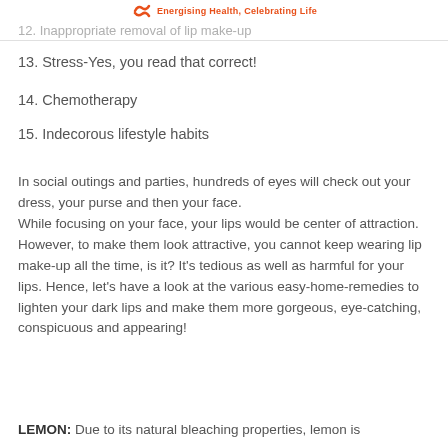Energising Health, Celebrating Life
12. Inappropriate removal of lip make-up
13. Stress-Yes, you read that correct!
14. Chemotherapy
15. Indecorous lifestyle habits
In social outings and parties, hundreds of eyes will check out your dress, your purse and then your face. While focusing on your face, your lips would be center of attraction. However, to make them look attractive, you cannot keep wearing lip make-up all the time, is it? It's tedious as well as harmful for your lips. Hence, let's have a look at the various easy-home-remedies to lighten your dark lips and make them more gorgeous, eye-catching, conspicuous and appearing!
LEMON: Due to its natural bleaching properties, lemon is